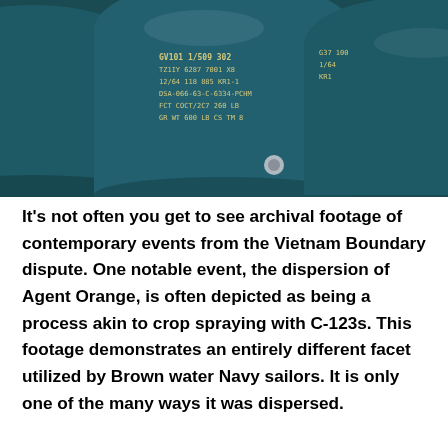[Figure (photo): Photograph of dark blue/teal barrels (drums) with yellow printed text labels, likely Agent Orange containers from the Vietnam War era.]
It's not often you get to see archival footage of contemporary events from the Vietnam Boundary dispute. One notable event, the dispersion of Agent Orange, is often depicted as being a process akin to crop spraying with C-123s. This footage demonstrates an entirely different facet utilized by Brown water Navy sailors. It is only one of the many ways it was dispersed.
[Figure (photo): Black and white photograph of a group of smiling Vietnamese children and young people outdoors among foliage.]